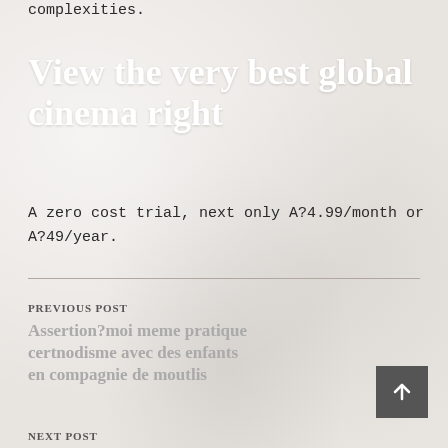complexities.
View the very best global cinema right
A zero cost trial, next only A?4.99/month or A?49/year.
PREVIOUS POST
Assertion?moi meme pratique certnodisme avec des enfants en compagnie de moutlis
NEXT POST